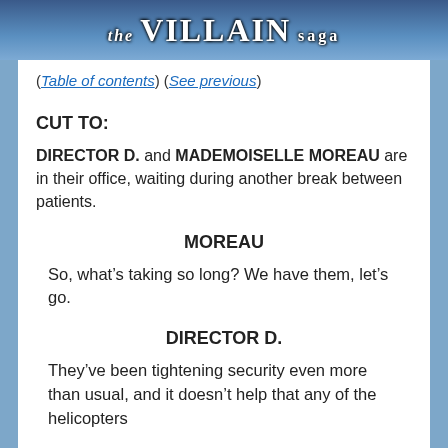[Figure (illustration): Banner image for 'The Villain Saga' webcomic with cartoon villain characters and stylized title text on a dark blue background]
(Table of contents) (See previous)
CUT TO:
DIRECTOR D. and MADEMOISELLE MOREAU are in their office, waiting during another break between patients.
MOREAU
So, what's taking so long? We have them, let's go.
DIRECTOR D.
They've been tightening security even more than usual, and it doesn't help that any of the helicopters